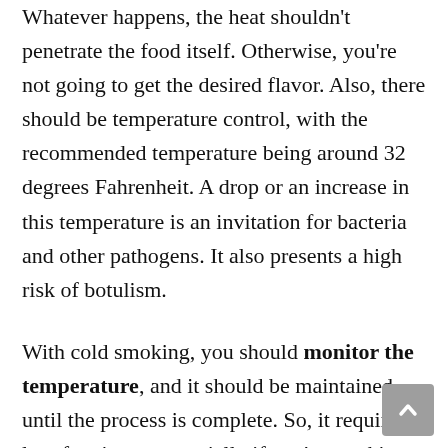Whatever happens, the heat shouldn't penetrate the food itself. Otherwise, you're not going to get the desired flavor. Also, there should be temperature control, with the recommended temperature being around 32 degrees Fahrenheit. A drop or an increase in this temperature is an invitation for bacteria and other pathogens. It also presents a high risk of botulism.
With cold smoking, you should monitor the temperature, and it should be maintained until the process is complete. So, it requires a lot of patience, especially if you're smoking thick chunks of beef. A deviation might turn your beef